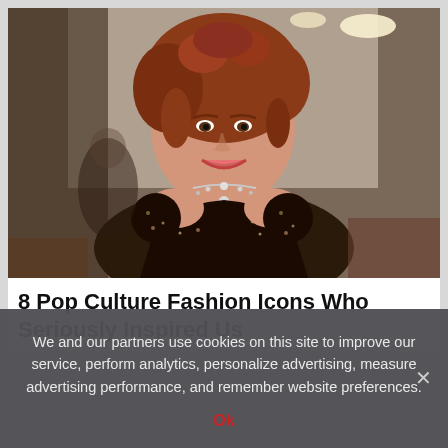[Figure (photo): A woman with curly red-auburn hair wearing a dark sparkly off-shoulder gown and a diamond necklace, smiling, resembling a period costume scene (Titanic movie still).]
8 Pop Culture Fashion Icons Who Seriously Inspired Us
We and our partners use cookies on this site to improve our service, perform analytics, personalize advertising, measure advertising performance, and remember website preferences.
Ok